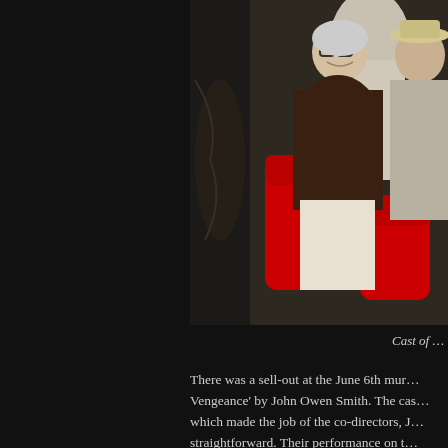[Figure (photo): Two elderly people seated in red chairs at what appears to be a theatre event. A woman wearing glasses and a dark brown jacket is smiling, seated next to an older man in a white suit and hat.]
Cast of …
There was a sell-out at the June 6th mur… Vengeance' by John Owen Smith. The cas… which made the job of the co-directors, J… straightforward. Their performance on t… Each succeeded in effectively developing …